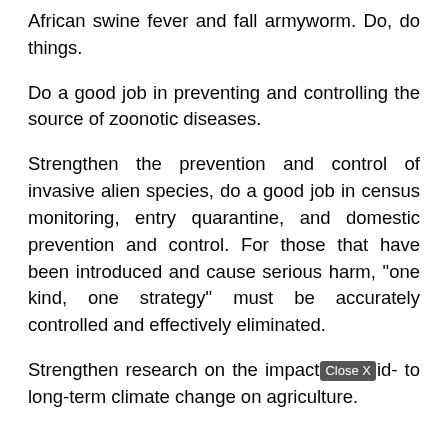African swine fever and fall armyworm. Do, do things.
Do a good job in preventing and controlling the source of zoonotic diseases.
Strengthen the prevention and control of invasive alien species, do a good job in census monitoring, entry quarantine, and domestic prevention and control. For those that have been introduced and cause serious harm, "one kind, one strategy" must be accurately controlled and effectively eliminated.
Strengthen research on the impact [Close X] id- to long-term climate change on agriculture.